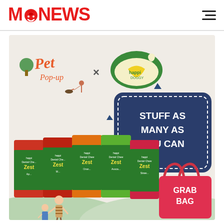MN NEWS
[Figure (illustration): Pet Pop-up x Happi Doggy promotional illustration showing Dental Chew Zest products in various flavors with 'STUFF AS MANY AS YOU CAN' speech bubble and a red GRAB BAG, on a beige background with decorative triangles and people walking a dog at the bottom.]